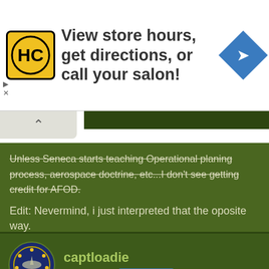[Figure (advertisement): HC salon logo advertisement with text 'View store hours, get directions, or call your salon!' and a blue navigation diamond icon]
Unless Seneca starts teaching Operational planing process, aerospace doctrine, etc...I don't see getting credit for AFOD.
Edit: Nevermind, i just interpreted that the oposite way.
captloadie
Sr. Member  Subscriber
8 Jun 2012  #319
This site uses cookies to help personalise content, tailor your experience and to keep you logged in if you register.
By continuing to use this site, you are consenting to our use of cookies.